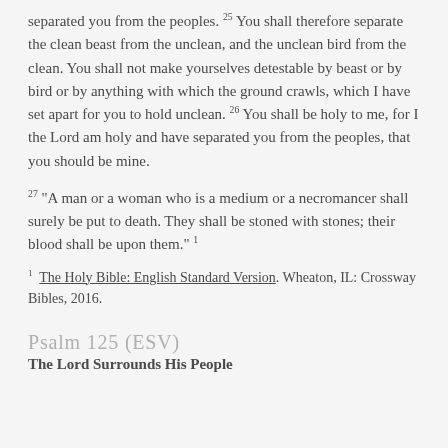separated you from the peoples. 25 You shall therefore separate the clean beast from the unclean, and the unclean bird from the clean. You shall not make yourselves detestable by beast or by bird or by anything with which the ground crawls, which I have set apart for you to hold unclean. 26 You shall be holy to me, for I the Lord am holy and have separated you from the peoples, that you should be mine.
27 "A man or a woman who is a medium or a necromancer shall surely be put to death. They shall be stoned with stones; their blood shall be upon them." 1
1  The Holy Bible: English Standard Version. Wheaton, IL: Crossway Bibles, 2016.
Psalm 125 (ESV)
The Lord Surrounds His People